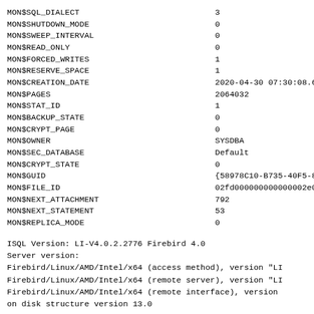| Field | Value |
| --- | --- |
| MON$SQL_DIALECT | 3 |
| MON$SHUTDOWN_MODE | 0 |
| MON$SWEEP_INTERVAL | 0 |
| MON$READ_ONLY | 0 |
| MON$FORCED_WRITES | 1 |
| MON$RESERVE_SPACE | 1 |
| MON$CREATION_DATE | 2020-04-30 07:30:08.6030 |
| MON$PAGES | 2064032 |
| MON$STAT_ID | 1 |
| MON$BACKUP_STATE | 0 |
| MON$CRYPT_PAGE | 0 |
| MON$OWNER | SYSDBA |
| MON$SEC_DATABASE | Default |
| MON$CRYPT_STATE | 0 |
| MON$GUID | {58978C10-B735-40F5-8B7D- |
| MON$FILE_ID | 02fd000000000000002e0200000 |
| MON$NEXT_ATTACHMENT | 792 |
| MON$NEXT_STATEMENT | 53 |
| MON$REPLICA_MODE | 0 |
ISQL Version: LI-V4.0.2.2776 Firebird 4.0
Server version:
Firebird/Linux/AMD/Intel/x64 (access method), version "LI
Firebird/Linux/AMD/Intel/x64 (remote server), version "LI
Firebird/Linux/AMD/Intel/x64 (remote interface), version
on disk structure version 13.0
Database statistics